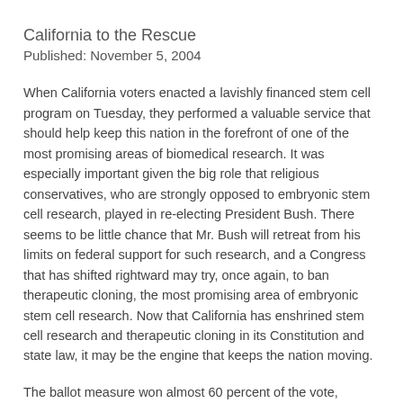California to the Rescue
Published: November 5, 2004
When California voters enacted a lavishly financed stem cell program on Tuesday, they performed a valuable service that should help keep this nation in the forefront of one of the most promising areas of biomedical research. It was especially important given the big role that religious conservatives, who are strongly opposed to embryonic stem cell research, played in re-electing President Bush. There seems to be little chance that Mr. Bush will retreat from his limits on federal support for such research, and a Congress that has shifted rightward may try, once again, to ban therapeutic cloning, the most promising area of embryonic stem cell research. Now that California has enshrined stem cell research and therapeutic cloning in its Constitution and state law, it may be the engine that keeps the nation moving.
The ballot measure won almost 60 percent of the vote, thanks in part to strong support from Gov. Arnold